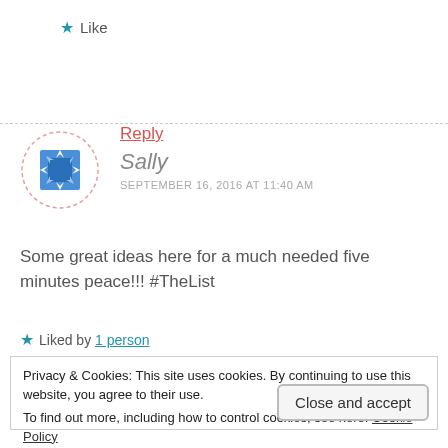★ Like
Reply
Sally
SEPTEMBER 16, 2016 AT 11:40 AM
Some great ideas here for a much needed five minutes peace!!! #TheList
★ Liked by 1 person
Privacy & Cookies: This site uses cookies. By continuing to use this website, you agree to their use.
To find out more, including how to control cookies, see here: Cookie Policy
Close and accept